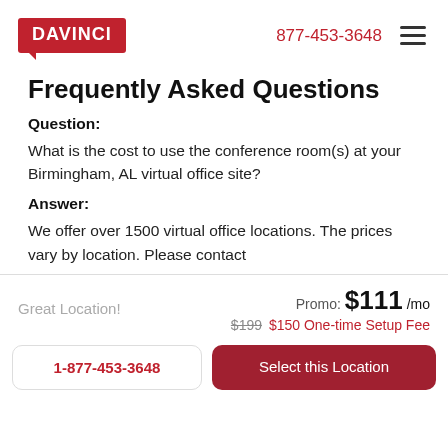DAVINCI | 877-453-3648
Frequently Asked Questions
Question:
What is the cost to use the conference room(s) at your Birmingham, AL virtual office site?
Answer:
We offer over 1500 virtual office locations. The prices vary by location. Please contact
Great Location!
Promo: $111/mo
$199 $150 One-time Setup Fee
1-877-453-3648
Select this Location